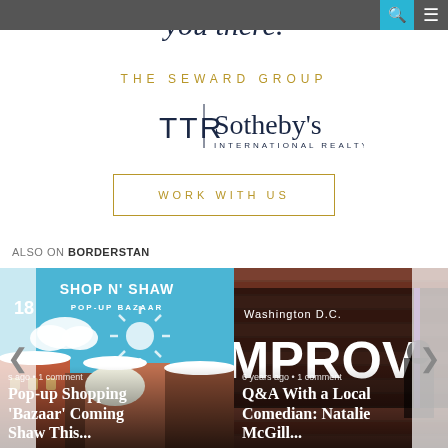you there.
THE SEWARD GROUP
[Figure (logo): TTR | Sotheby's International Realty logo with vertical divider]
WORK WITH US
ALSO ON BORDERSTAN
[Figure (photo): Shop N' Shaw Pop-Up Bazaar event card with title: Pop-up Shopping 'Bazaar' Coming Shaw This...]
[Figure (photo): Washington D.C. Improv sign photo with title: Q&A With a Local Comedian: Natalie McGill...]